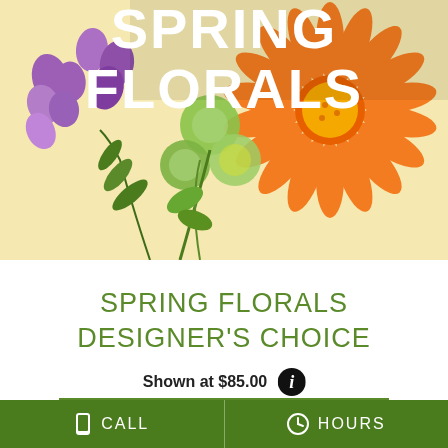[Figure (photo): Spring florals arrangement photo with purple stock flowers, green mums, orange gerbera daisy, with bold white text overlay reading 'SPRING FLORALS']
SPRING FLORALS DESIGNER'S CHOICE
Shown at $85.00
BUY NOW
[Figure (photo): Small floral arrangement with pink and purple flowers at the bottom of the page]
CALL   HOURS